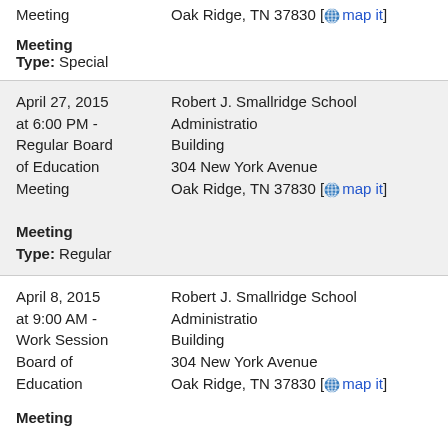Meeting    Oak Ridge, TN 37830 [ map it ]
Meeting Type: Special
April 27, 2015 at 6:00 PM - Regular Board of Education Meeting    Robert J. Smallridge School Administration Building 304 New York Avenue Oak Ridge, TN 37830 [ map it ]
Meeting Type: Regular
April 8, 2015 at 9:00 AM - Work Session Board of Education    Robert J. Smallridge School Administration Building 304 New York Avenue Oak Ridge, TN 37830 [ map it ]
Meeting